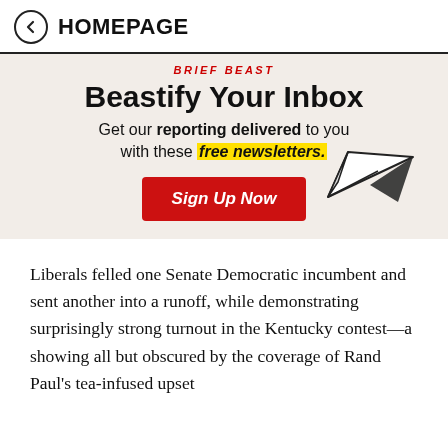HOMEPAGE
BRIEF BEAST
Beastify Your Inbox
Get our reporting delivered to you with these free newsletters.
[Figure (illustration): Red 'Sign Up Now' button with a paper airplane illustration to the right]
Liberals felled one Senate Democratic incumbent and sent another into a runoff, while demonstrating surprisingly strong turnout in the Kentucky contest—a showing all but obscured by the coverage of Rand Paul's tea-infused upset